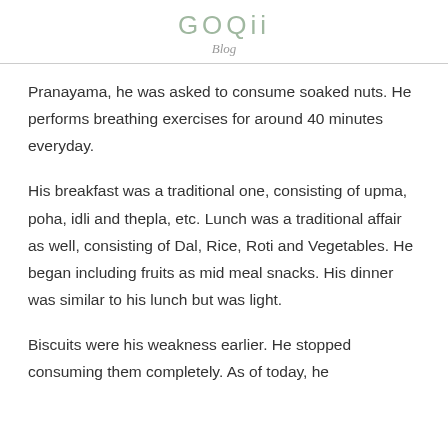GOQii
Blog
Pranayama, he was asked to consume soaked nuts. He performs breathing exercises for around 40 minutes everyday.
His breakfast was a traditional one, consisting of upma, poha, idli and thepla, etc. Lunch was a traditional affair as well, consisting of Dal, Rice, Roti and Vegetables. He began including fruits as mid meal snacks. His dinner was similar to his lunch but was light.
Biscuits were his weakness earlier. He stopped consuming them completely. As of today, he